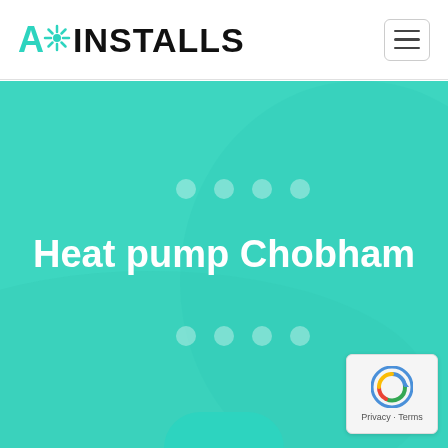A* INSTALLS
[Figure (screenshot): Hero banner with teal/green background showing decorative dot patterns and the heading 'Heat pump Chobham' in bold white text. A reCAPTCHA badge is visible in the bottom right corner.]
Heat pump Chobham